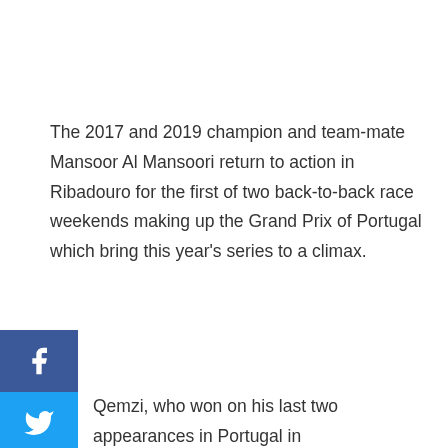The 2017 and 2019 champion and team-mate Mansoor Al Mansoori return to action in Ribadouro for the first of two back-to-back race weekends making up the Grand Prix of Portugal which bring this year's series to a climax.
[Figure (other): Social media sharing buttons: Facebook (blue), Twitter (light blue), Pinterest (red), LinkedIn (dark blue) arranged vertically on the left side]
Qemzi, who won on his last two appearances in Portugal in 18 and 2019, is chasing a third successive win on the Douro er ahead of the final round a week later at Vila Velha de Rodao.